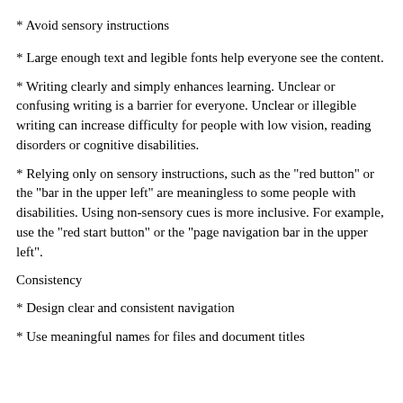* Avoid sensory instructions
* Large enough text and legible fonts help everyone see the content.
* Writing clearly and simply enhances learning. Unclear or confusing writing is a barrier for everyone. Unclear or illegible writing can increase difficulty for people with low vision, reading disorders or cognitive disabilities.
* Relying only on sensory instructions, such as the "red button" or the "bar in the upper left" are meaningless to some people with disabilities. Using non-sensory cues is more inclusive. For example, use the "red start button" or the "page navigation bar in the upper left".
Consistency
* Design clear and consistent navigation
* Use meaningful names for files and document titles